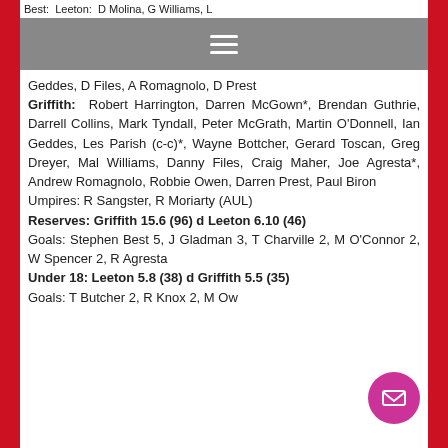Best: Leeton: D Molina, G Williams, L...
Geddes, D Files, A Romagnolo, D Prest
Griffith: Robert Harrington, Darren McGown*, Brendan Guthrie, Darrell Collins, Mark Tyndall, Peter McGrath, Martin O'Donnell, Ian Geddes, Les Parish (c-c)*, Wayne Bottcher, Gerard Toscan, Greg Dreyer, Mal Williams, Danny Files, Craig Maher, Joe Agresta*, Andrew Romagnolo, Robbie Owen, Darren Prest, Paul Biron
Umpires: R Sangster, R Moriarty (AUL)
Reserves: Griffith 15.6 (96) d Leeton 6.10 (46)
Goals: Stephen Best 5, J Gladman 3, T Charville 2, M O'Connor 2, W Spencer 2, R Agresta
Under 18: Leeton 5.8 (38) d Griffith 5.5 (35)
Goals: T Butcher 2, R Knox 2, M Ow...